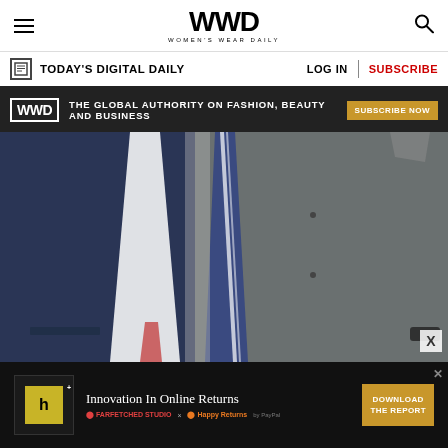WWD — Women's Wear Daily
TODAY'S DIGITAL DAILY | LOG IN | SUBSCRIBE
WWD — THE GLOBAL AUTHORITY ON FASHION, BEAUTY AND BUSINESS — SUBSCRIBE NOW
[Figure (photo): Close-up photo of two men in suits — one in navy blue, one in grey — photographed from the chest down. The man on the right wears a striped tie and has a pocket square.]
Innovation In Online Returns — DOWNLOAD THE REPORT